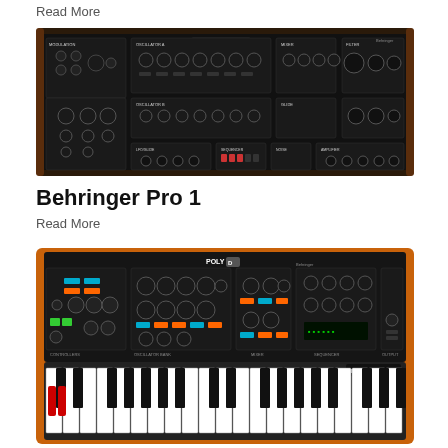Read More
[Figure (photo): Behringer Pro 1 synthesizer front panel with black body showing oscillators, mixer, filter, envelope, and modulation controls]
Behringer Pro 1
Read More
[Figure (photo): Behringer Poly D synthesizer with orange wood side panels showing controllers, oscillator bank, mixer, sequencer sections and keyboard with black and white keys]